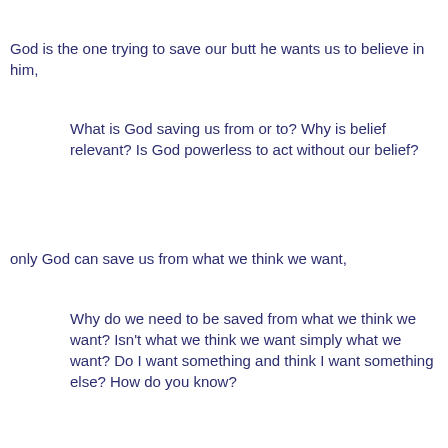God is the one trying to save our butt he wants us to believe in him,
What is God saving us from or to? Why is belief relevant? Is God powerless to act without our belief?
only God can save us from what we think we want,
Why do we need to be saved from what we think we want? Isn't what we think we want simply what we want? Do I want something and think I want something else? How do you know?